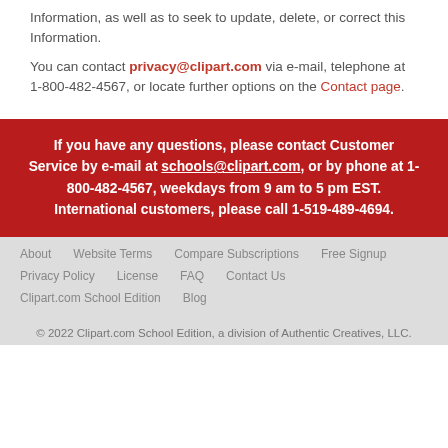Information, as well as to seek to update, delete, or correct this Information.
You can contact privacy@clipart.com via e-mail, telephone at 1-800-482-4567, or locate further options on the Contact page.
If you have any questions, please contact Customer Service by e-mail at schools@clipart.com, or by phone at 1-800-482-4567, weekdays from 9 am to 5 pm EST. International customers, please call 1-519-489-4694.
About  Website Terms  Compare Subscriptions  Free Signup  Privacy Policy  License  FAQ  Contact Us  Clipart.com School Edition  Blog
© 2022 Clipart.com School Edition, a division of Authentic Creatives, LLC.